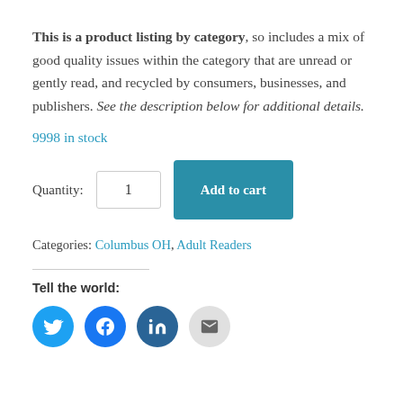This is a product listing by category, so includes a mix of good quality issues within the category that are unread or gently read, and recycled by consumers, businesses, and publishers. See the description below for additional details.
9998 in stock
Quantity: 1  [Add to cart button]
Categories: Columbus OH, Adult Readers
Tell the world:
[Figure (infographic): Four social sharing icons: Twitter (blue circle), Facebook (blue circle), LinkedIn (dark teal circle), Email (light grey circle)]